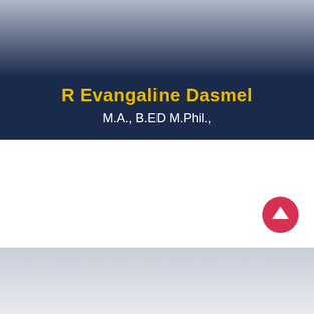R Evangaline Dasmel
M.A., B.ED M.Phil.,
[Figure (illustration): Upward arrow icon in a red/pink circle, used as a scroll-to-top navigation button]